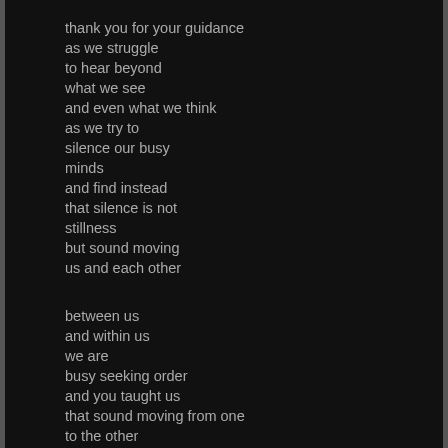thank you for your guidance
as we struggle
to hear beyond
what we see
and even what we think
as we try to
silence our busy
minds
and find instead
that silence is not
stillness
but sound moving
us and each other

between us
and within us
we are
busy seeking order
and you taught us
that sound moving from one
to the other